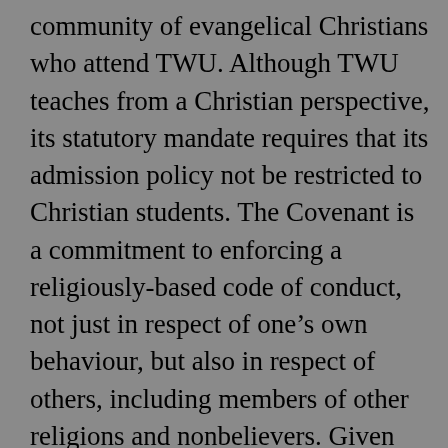community of evangelical Christians who attend TWU. Although TWU teaches from a Christian perspective, its statutory mandate requires that its admission policy not be restricted to Christian students. The Covenant is a commitment to enforcing a religiously-based code of conduct, not just in respect of one’s own behaviour, but also in respect of others, including members of other religions and nonbelievers. Given that the coercion of nonbelievers is not protected by the Charter, TWU’s claim falls outside the scope of freedom of religion as protected by s. 2 (a).